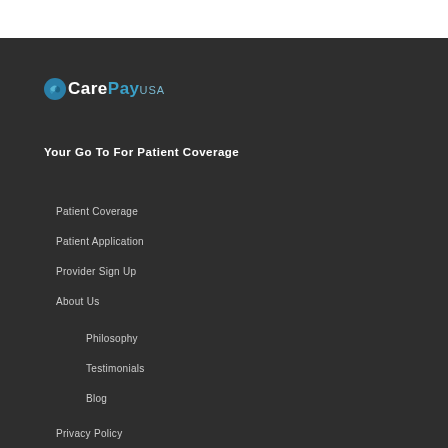[Figure (logo): CarePayUSA logo with circular blue icon and text]
Your Go To For Patient Coverage
Patient Coverage
Patient Application
Provider Sign Up
About Us
Philosophy
Testimonials
Blog
Privacy Policy